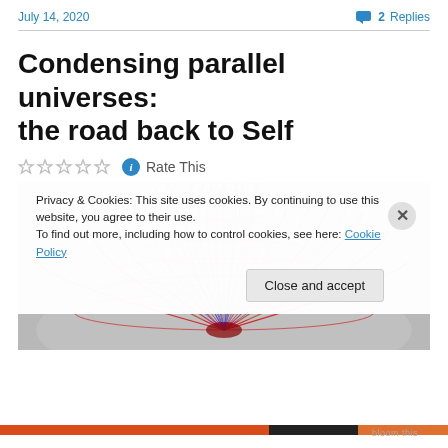July 14, 2020    💬 2 Replies
Condensing parallel universes: the road back to Self
☆☆☆☆☆ ℹ Rate This
[Figure (illustration): 3D torus/donut shape rendered with a mesh grid showing blue at the top and red at the bottom, on a grey background]
Privacy & Cookies: This site uses cookies. By continuing to use this website, you agree to their use.
To find out more, including how to control cookies, see here: Cookie Policy
Close and accept